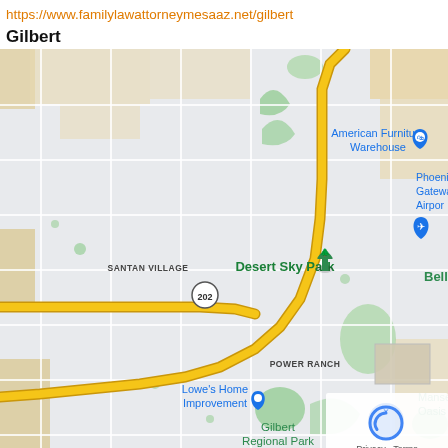https://www.familylawattorneymesaaz.net/gilbert
Gilbert
[Figure (map): Google Maps screenshot showing Gilbert, Arizona area with landmarks including American Furniture Warehouse, Phoenix-Mesa Gateway Airport, Desert Sky Park, Santan Village, Bell B (partially visible), Lowe's Home Improvement (Power Ranch area), Gilbert Regional Park, and Mansel Ca Oasis Par (partially visible). Highway 202 runs through the lower portion of the map. A Privacy·Terms box with reCAPTCHA logo appears in the bottom right corner.]